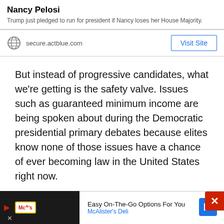Nancy Pelosi
Trump just pledged to run for president if Nancy loses her House Majority.
secure.actblue.com
Visit Site
But instead of progressive candidates, what we're getting is the safety valve. Issues such as guaranteed minimum income are being spoken about during the Democratic presidential primary debates because elites know none of those issues have a chance of ever becoming law in the United States right now.
I believe that Donald Trump is likely going to win another term in 2020, and do so by a comfortable
Easy On-The-Go Options For You
McAlister's Deli